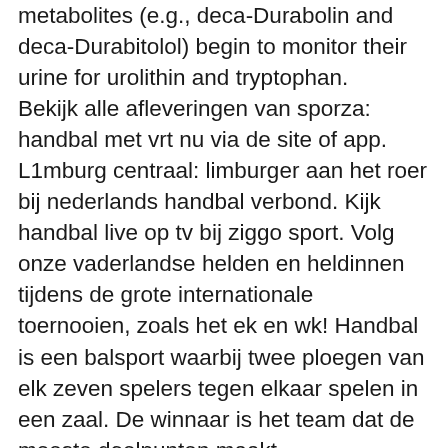metabolites (e.g., deca-Durabolin and deca-Durabitolol) begin to monitor their urine for urolithin and tryptophan. Bekijk alle afleveringen van sporza: handbal met vrt nu via de site of app. L1mburg centraal: limburger aan het roer bij nederlands handbal verbond. Kijk handbal live op tv bij ziggo sport. Volg onze vaderlandse helden en heldinnen tijdens de grote internationale toernooien, zoals het ek en wk! Handbal is een balsport waarbij twee ploegen van elk zeven spelers tegen elkaar spelen in een zaal. De winnaar is het team dat de meeste doelpunten maakt © 2021 the coca-cola company, all rights reserved. Coca-cola®, &quot;taste the feeling&quot;, and the contour bottle are trademarks of the coca-cola. Search for short or long distance trips and much more. Travel with peace of mind, and find all the information you need during your trip: e-tickets. Come see the magic. See more